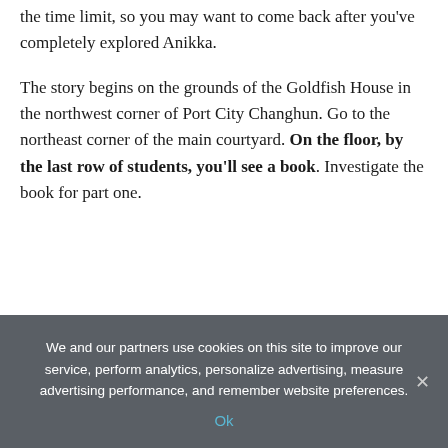the time limit, so you may want to come back after you've completely explored Anikka.
The story begins on the grounds of the Goldfish House in the northwest corner of Port City Changhun. Go to the northeast corner of the main courtyard. On the floor, by the last row of students, you'll see a book. Investigate the book for part one.
We and our partners use cookies on this site to improve our service, perform analytics, personalize advertising, measure advertising performance, and remember website preferences.
Ok